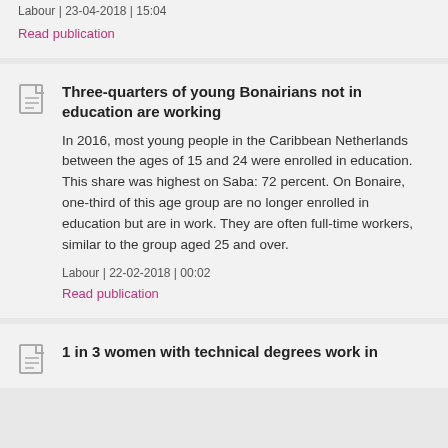Labour | 23-04-2018 | 15:04
Read publication
Three-quarters of young Bonairians not in education are working
In 2016, most young people in the Caribbean Netherlands between the ages of 15 and 24 were enrolled in education. This share was highest on Saba: 72 percent. On Bonaire, one-third of this age group are no longer enrolled in education but are in work. They are often full-time workers, similar to the group aged 25 and over.
Labour | 22-02-2018 | 00:02
Read publication
1 in 3 women with technical degrees work in